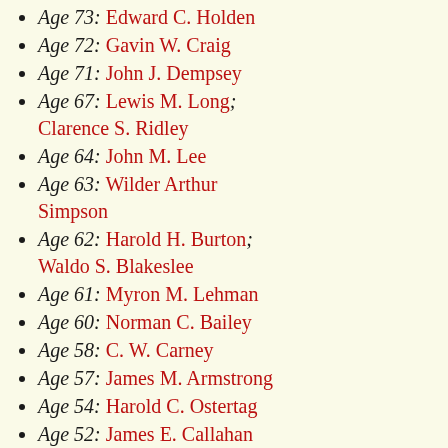Age 73: Edward C. Holden
Age 72: Gavin W. Craig
Age 71: John J. Dempsey
Age 67: Lewis M. Long; Clarence S. Ridley
Age 64: John M. Lee
Age 63: Wilder Arthur Simpson
Age 62: Harold H. Burton; Waldo S. Blakeslee
Age 61: Myron M. Lehman
Age 60: Norman C. Bailey
Age 58: C. W. Carney
Age 57: James M. Armstrong
Age 54: Harold C. Ostertag
Age 52: James E. Callahan
Age 51: Allen Bowsher
Age 47: Don L. Short
Age 46: Theron L. Caudle
Age 44: James A. Byrne; Chester C. Gorski; John McCuish
Age 43: John W. McIlvaine
Age 41: Kenneth T. Anderson
Age 40: Homer W. Caldwell; Richard J. Charnian